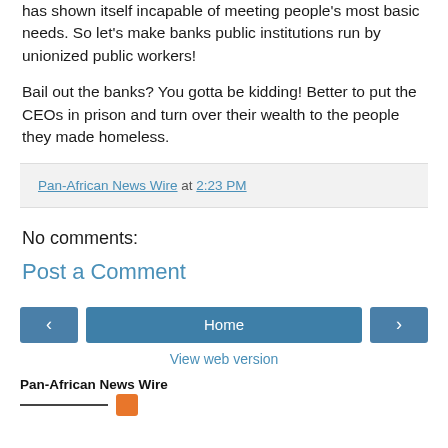has shown itself incapable of meeting people's most basic needs. So let's make banks public institutions run by unionized public workers!
Bail out the banks? You gotta be kidding! Better to put the CEOs in prison and turn over their wealth to the people they made homeless.
Pan-African News Wire at 2:23 PM
No comments:
Post a Comment
Home
View web version
Pan-African News Wire